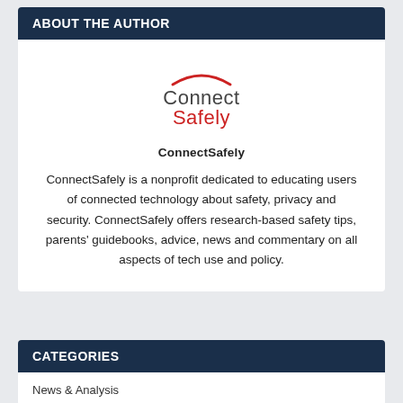ABOUT THE AUTHOR
[Figure (logo): ConnectSafely logo with red arc above the text 'Connect' in dark gray and 'Safely' in red]
ConnectSafely
ConnectSafely is a nonprofit dedicated to educating users of connected technology about safety, privacy and security. ConnectSafely offers research-based safety tips, parents' guidebooks, advice, news and commentary on all aspects of tech use and policy.
CATEGORIES
News & Analysis